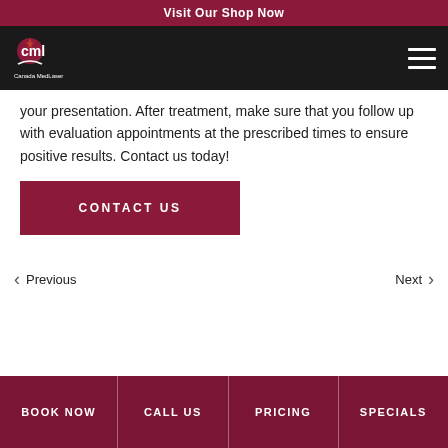Visit Our Shop Now
[Figure (logo): Canada MedLaser logo - white text/graphic on black background, with hamburger menu icon]
your presentation. After treatment, make sure that you follow up with evaluation appointments at the prescribed times to ensure positive results. Contact us today!
CONTACT US
Previous
Next
BOOK NOW | CALL US | PRICING | SPECIALS